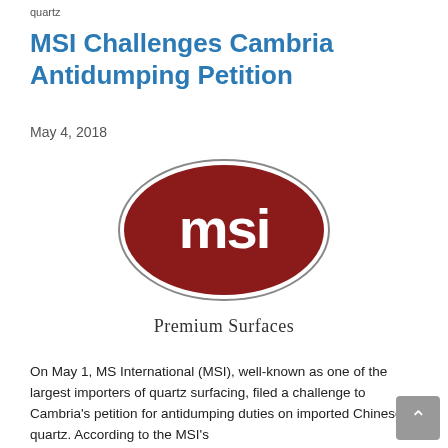quartz
MSI Challenges Cambria Antidumping Petition
May 4, 2018
[Figure (logo): MSI Premium Surfaces logo — dark red oval containing white stylized 'msi' text, with thin border ring, and 'Premium Surfaces' text below in black serif font]
On May 1, MS International (MSI), well-known as one of the largest importers of quartz surfacing, filed a challenge to Cambria's petition for antidumping duties on imported Chinese quartz. According to the MSI's